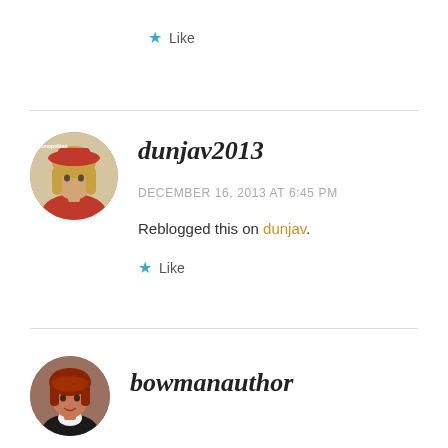★ Like
[Figure (photo): Avatar of dunjav2013 - person with long blonde hair wearing a red hat, magazine cover style image]
dunjav2013
DECEMBER 16, 2013 AT 6:45 PM
Reblogged this on dunjav.
★ Like
[Figure (photo): Avatar of bowmanauthor - person with red/auburn hair]
bowmanauthor